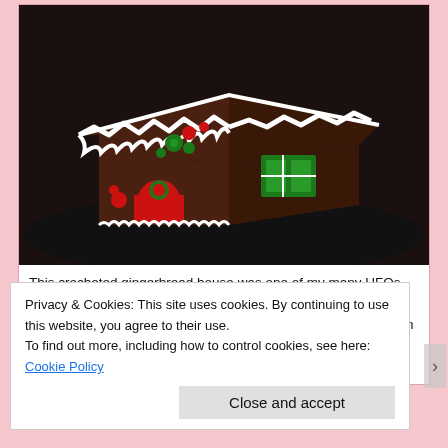[Figure (photo): A crocheted gingerbread house with brown yarn walls, white icing zigzag pattern on the roof, red door with green wreath, red and green candy decorations, and a green window with shutters, photographed on a dark surface.]
This crocheted gingerbread house was one of my many UFOs. Now it's a mostly-finished object. It still needs additional "candies" on it, but I haven't made those. Again, Baby Sprinkaan has affected my ability to craft. Track with me: The little house stands about 7.5" tall, so the
Privacy & Cookies: This site uses cookies. By continuing to use this website, you agree to their use.
To find out more, including how to control cookies, see here: Cookie Policy
Close and accept